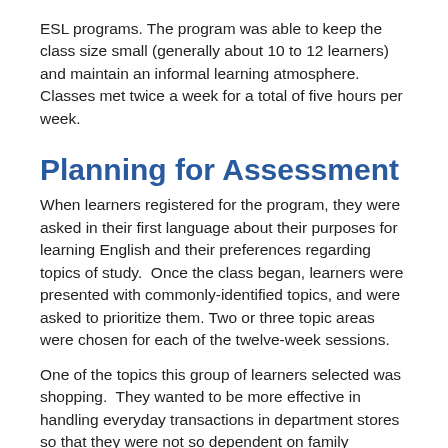ESL programs. The program was able to keep the class size small (generally about 10 to 12 learners) and maintain an informal learning atmosphere.  Classes met twice a week for a total of five hours per week.
Planning for Assessment
When learners registered for the program, they were asked in their first language about their purposes for learning English and their preferences regarding topics of study.  Once the class began, learners were presented with commonly-identified topics, and were asked to prioritize them. Two or three topic areas were chosen for each of the twelve-week sessions.
One of the topics this group of learners selected was shopping.  They wanted to be more effective in handling everyday transactions in department stores so that they were not so dependent on family members. They wanted to be able to ask questions, get information, make complaints, and return unsatisfactory merchandise.